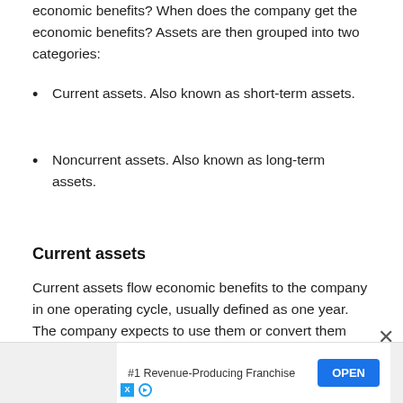economic benefits? When does the company get the economic benefits? Assets are then grouped into two categories:
Current assets. Also known as short-term assets.
Noncurrent assets. Also known as long-term assets.
Current assets
Current assets flow economic benefits to the company in one operating cycle, usually defined as one year. The company expects to use them or convert them into cash in the next 12 months.